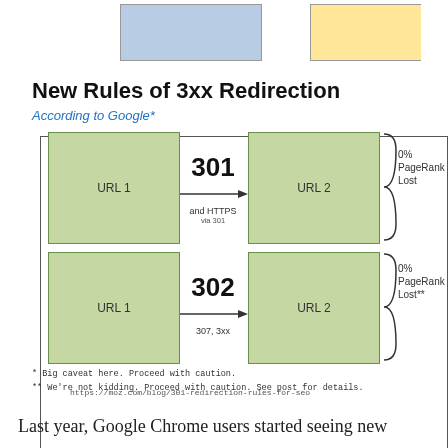[Figure (infographic): Diagram showing New Rules of 3xx Redirection according to Google. Top partial row shows blue box and yellow box (from previous page). Main bordered box contains title 'New Rules of 3xx Redirection', subtitle 'According to Google*', two redirect flow diagrams: Row 1 shows URL 1 box -> 301 arrow (and HTTPS via 301) -> URL 2 box with '0% PageRank Lost' label and curly brace; Row 2 shows URL 1 box -> 302 arrow (307, 3xx) -> URL 2 box with '0% PageRank Lost**' label and curly brace. Footnotes: '* Big caveat here. Proceed with caution.' and '** We're not kidding. Proceed with caution. See post for details.' Source URL: https://moz.com/blog/301-redirection-rules-for-seo]
Last year, Google Chrome users started seeing new